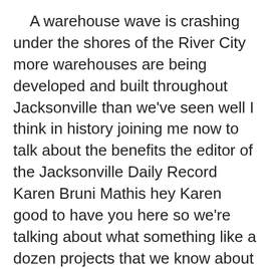A warehouse wave is crashing under the shores of the River City more warehouses are being developed and built throughout Jacksonville than we've seen well I think in history joining me now to talk about the benefits the editor of the Jacksonville Daily Record Karen Bruni Mathis hey Karen good to have you here so we're talking about what something like a dozen projects that we know about at least at least and a lot of these just surfaced in the past few weeks these developers they see that we have a very low vacancy rate and people need warehouses anytime you buy something from the store or online those goods have to go somewhere before they go into into your car and your shopping cart so I think the number you gave us was something like five point seven point five million square feet of warehouse space but but more